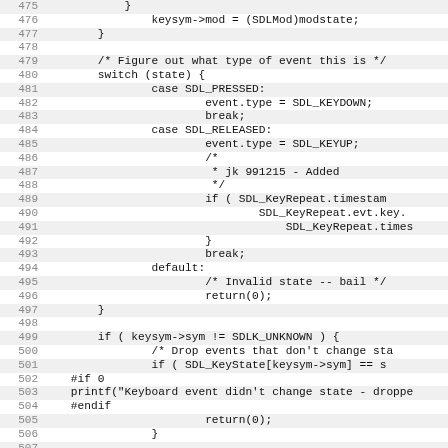[Figure (screenshot): Source code listing showing C code lines 475-506, with alternating light gray and white row backgrounds and line numbers on the left. The code is part of an SDL keyboard event handling function.]